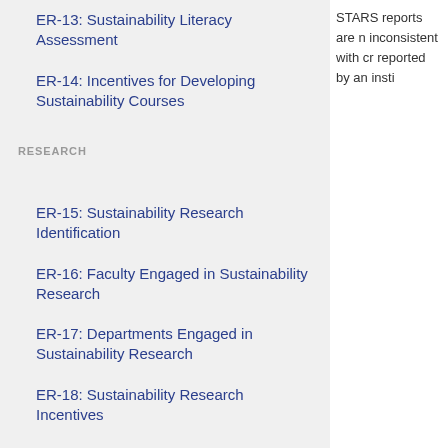ER-13: Sustainability Literacy Assessment
ER-14: Incentives for Developing Sustainability Courses
RESEARCH
ER-15: Sustainability Research Identification
ER-16: Faculty Engaged in Sustainability Research
ER-17: Departments Engaged in Sustainability Research
ER-18: Sustainability Research Incentives
ER-19: Interdisciplinary Research in Tenure and Promotion
STARS reports are n inconsistent with cr reported by an insti